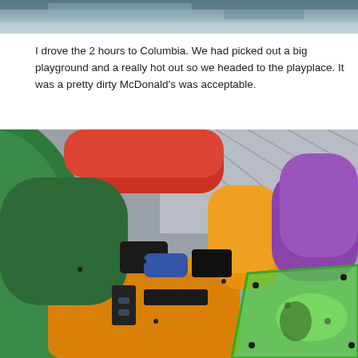[Figure (photo): Partial view of what appears to be a vehicle interior or machinery, blurred]
I drove the 2 hours to Columbia. We had picked out a big playground and a really hot out so we headed to the playplace. It was a pretty dirty McDonald's was acceptable.
[Figure (photo): Close-up interior photo of a McDonald's PlayPlace indoor playground equipment showing colorful tubes in green, orange, red, yellow, and purple, with a transparent green tunnel/window section]